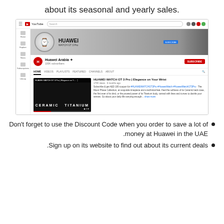.about its seasonal and yearly sales
[Figure (screenshot): Screenshot of the Huawei Arabia YouTube channel page showing the channel banner with Huawei Watch GT 3 Pro advertisement, channel name 'Huawei Arabia' with 100K subscribers, navigation tabs (HOME, VIDEOS, PLAYLISTS, FEATURED, CHANNELS, ABOUT), and a featured video 'HUAWEI WATCH GT 3 Pro | Elegance on Your Wrist' showing CERAMIC TITANIUM thumbnail, with video description mentioning AED 100 coupon.]
Don't forget to use the Discount Code when you order to save a lot of money at Huawei in the UAE.
Sign up on its website to find out about its current deals.